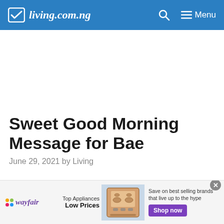living.com.ng | Menu
Sweet Good Morning Message for Bae
June 29, 2021 by Living
[Figure (screenshot): Wayfair advertisement banner: Top Appliances Low Prices, Save on best selling brands that live up to the hype. Shop now button.]